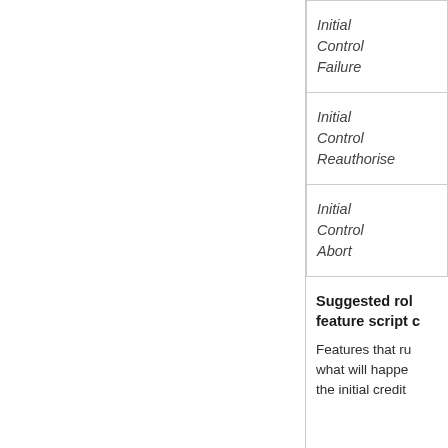| Initial
Control
Failure |
| Initial
Control
Reauthorise |
| Initial
Control
Abort |
Suggested role for feature script c
Features that ru what will happe the initial credit